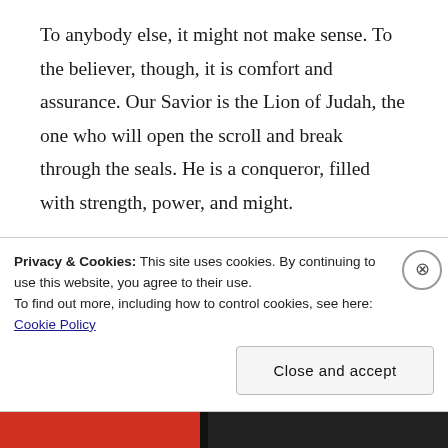To anybody else, it might not make sense. To the believer, though, it is comfort and assurance. Our Savior is the Lion of Judah, the one who will open the scroll and break through the seals. He is a conqueror, filled with strength, power, and might.

That same Savior is a lamb, though — our sacrificial lamb. He put all of humanity before
Privacy & Cookies: This site uses cookies. By continuing to use this website, you agree to their use.
To find out more, including how to control cookies, see here: Cookie Policy
Close and accept